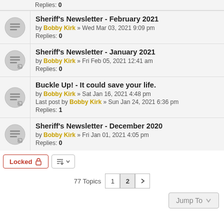Replies: 0 (partial, top)
Sheriff's Newsletter - February 2021 by Bobby Kirk » Wed Mar 03, 2021 9:09 pm Replies: 0
Sheriff's Newsletter - January 2021 by Bobby Kirk » Fri Feb 05, 2021 12:41 am Replies: 0
Buckle Up! - It could save your life. by Bobby Kirk » Sat Jan 16, 2021 4:48 pm Last post by Bobby Kirk » Sun Jan 24, 2021 6:36 pm Replies: 1
Sheriff's Newsletter - December 2020 by Bobby Kirk » Fri Jan 01, 2021 4:05 pm Replies: 0
Locked  |  Sort  |  77 Topics  1  2  >
Jump To